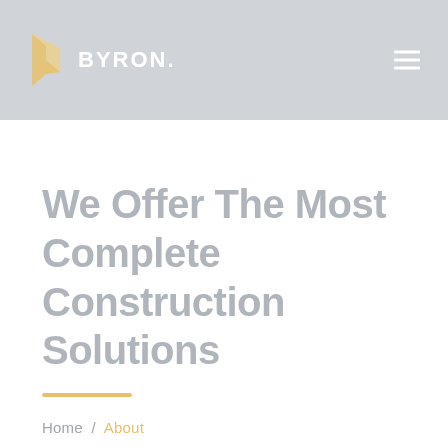BYRON.
We Offer The Most Complete Construction Solutions
Home / About